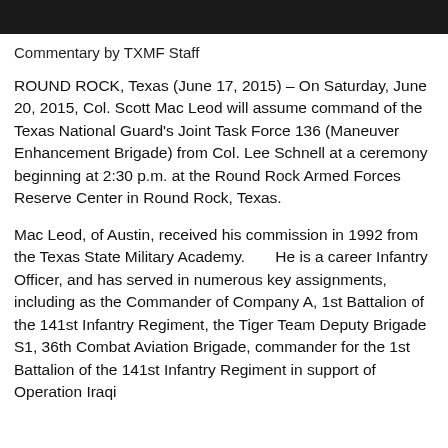[Figure (photo): Partial photo strip at top of page showing people, mostly cropped/dark]
Commentary by TXMF Staff
ROUND ROCK, Texas (June 17, 2015) – On Saturday, June 20, 2015, Col. Scott Mac Leod will assume command of the Texas National Guard's Joint Task Force 136 (Maneuver Enhancement Brigade) from Col. Lee Schnell at a ceremony beginning at 2:30 p.m. at the Round Rock Armed Forces Reserve Center in Round Rock, Texas.
Mac Leod, of Austin, received his commission in 1992 from the Texas State Military Academy.      He is a career Infantry Officer, and has served in numerous key assignments, including as the Commander of Company A, 1st Battalion of the 141st Infantry Regiment, the Tiger Team Deputy Brigade S1, 36th Combat Aviation Brigade, commander for the 1st Battalion of the 141st Infantry Regiment in support of Operation Iraqi